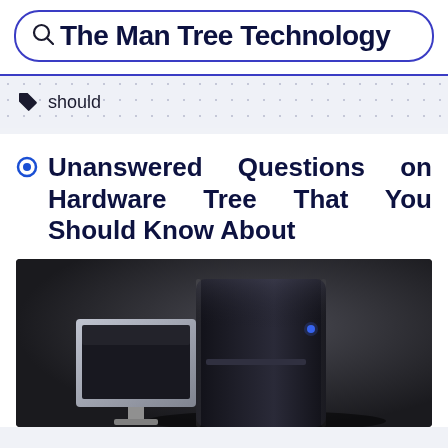The Man Tree Technology
should
Unanswered Questions on Hardware Tree That You Should Know About
[Figure (photo): Dark background photo showing a black computer tower/case and a silver monitor or device, lit dramatically against a dark background.]